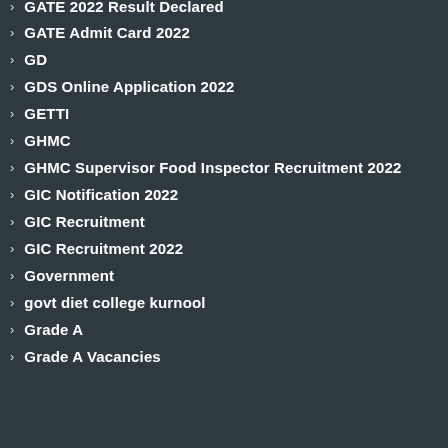GATE 2022 Result Declared
GATE Admit Card 2022
GD
GDS Online Application 2022
GETTI
GHMC
GHMC Supervisor Food Inspector Recruitment 2022
GIC Notification 2022
GIC Recruitment
GIC Recruitment 2022
Government
govt diet college kurnool
Grade A
Grade A Vacancies